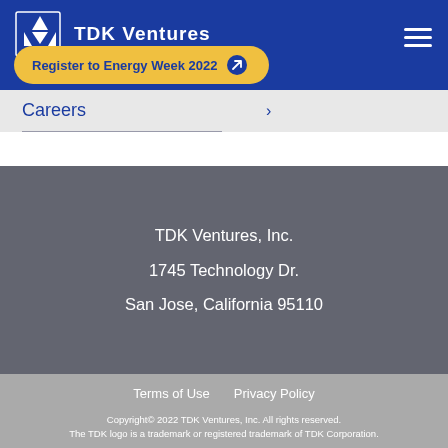[Figure (logo): TDK Ventures logo with TDK snowflake symbol and text 'TDK Ventures' on blue header bar]
Register to Energy Week 2022
Careers ›
TDK Ventures, Inc.
1745 Technology Dr.
San Jose, California 95110
Terms of Use   Privacy Policy
Copyright© 2022 TDK Ventures, Inc. All rights reserved. The TDK logo is a trademark or registered trademark of TDK Corporation.